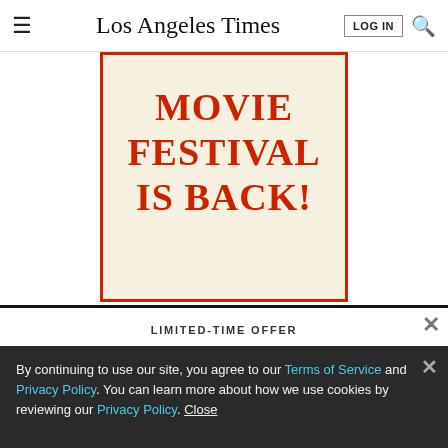Los Angeles Times | LOG IN
[Figure (other): Advertisement banner with cream/beige background and red border reading 'MOVIE FESTIVAL IS BACK!' in large bold red serif text]
LIMITED-TIME OFFER
$1 for 6 Months
SUBSCRIBE NOW
By continuing to use our site, you agree to our Terms of Service and Privacy Policy. You can learn more about how we use cookies by reviewing our Privacy Policy. Close